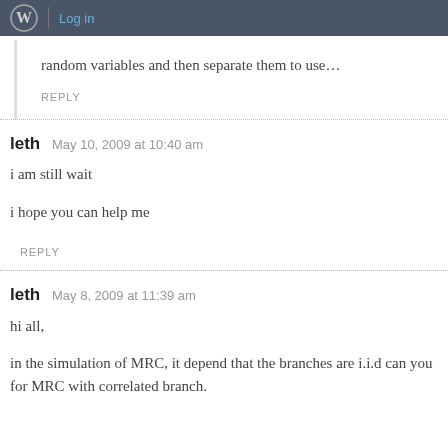Log in
random variables and then separate them to use…
REPLY
leth   May 10, 2009 at 10:40 am
i am still wait
i hope you can help me
REPLY
leth   May 8, 2009 at 11:39 am
hi all,
in the simulation of MRC, it depend that the branches are i.i.d can you for MRC with correlated branch.